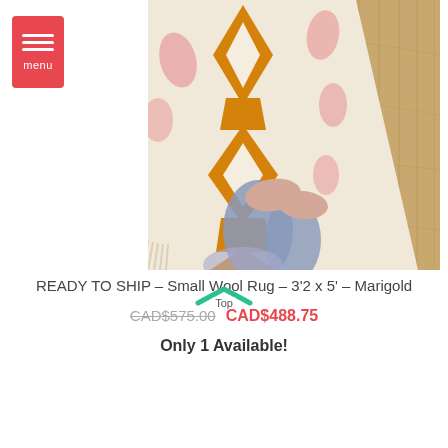[Figure (photo): Close-up photo of a cream-colored wool rug with orange diamond/geometric pattern and pink accents, with a person wearing jeans and pink shoes standing on it, on a wood floor]
READY TO SHIP – Small Wool Rug – 3'2 x 5' – Marigold
CAD$575.00  CAD$488.75
Only 1 Available!